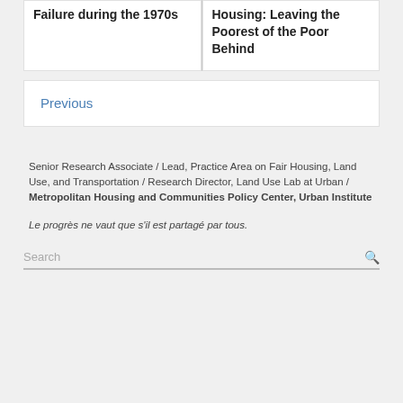Failure during the 1970s
Housing: Leaving the Poorest of the Poor Behind
Previous
Senior Research Associate / Lead, Practice Area on Fair Housing, Land Use, and Transportation / Research Director, Land Use Lab at Urban / Metropolitan Housing and Communities Policy Center, Urban Institute
Le progrès ne vaut que s'il est partagé par tous.
Search